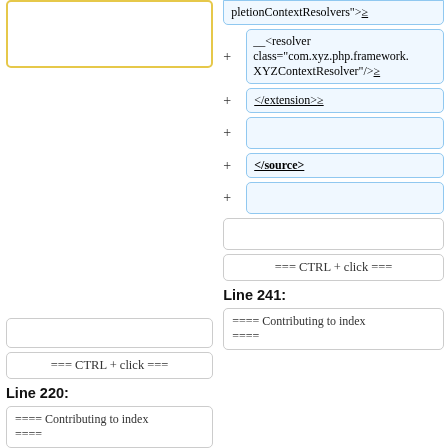[Figure (screenshot): Left column top: yellow bordered empty code box]
[Figure (screenshot): Right column top: blue box with text 'pletionContextResolvers">≥']
[Figure (screenshot): Right column: blue box with '+' and code '__<resolver class="com.xyz.php.framework.XYZContextResolver"/>≥']
[Figure (screenshot): Right column: blue box with '+' and '</extension>≥']
[Figure (screenshot): Right column: blue empty box with '+']
[Figure (screenshot): Right column: blue box with '+' and '</source>']
[Figure (screenshot): Right column: blue empty box with '+']
[Figure (screenshot): Left column: empty grey box]
[Figure (screenshot): Right column: empty grey box]
[Figure (screenshot): Left column: '=== CTRL + click ===' box]
[Figure (screenshot): Right column: '=== CTRL + click ===' box]
Line 220:
Line 241:
[Figure (screenshot): Left column: Contributing to index ==== code box]
[Figure (screenshot): Right column: Contributing to index ==== code box]